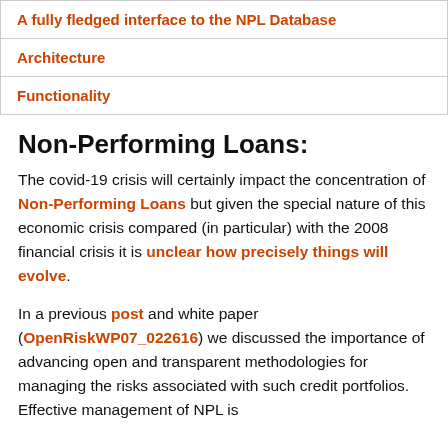| A fully fledged interface to the NPL Database |
| Architecture |
| Functionality |
Non-Performing Loans:
The covid-19 crisis will certainly impact the concentration of Non-Performing Loans but given the special nature of this economic crisis compared (in particular) with the 2008 financial crisis it is unclear how precisely things will evolve.
In a previous post and white paper (OpenRiskWP07_022616) we discussed the importance of advancing open and transparent methodologies for managing the risks associated with such credit portfolios. Effective management of NPL is